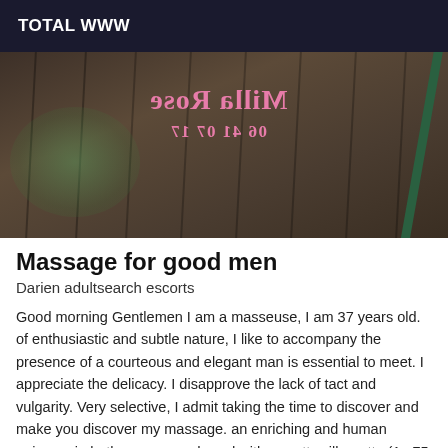TOTAL WWW
[Figure (photo): Photo of wooden deck boards with mirrored/reflected pink text reading 'Milla Rose' and a phone number, with a green circular shadow and green pole on the right]
Massage for good men
Darien adultsearch escorts
Good morning Gentlemen I am a masseuse, I am 37 years old. of enthusiastic and subtle nature, I like to accompany the presence of a courteous and elegant man is essential to meet. I appreciate the delicacy. I disapprove the lack of tact and vulgarity. Very selective, I admit taking the time to discover and make you discover my massage. an enriching and human universe in both senses. endowed with a pretty silhouette (1m75 / 60 kg